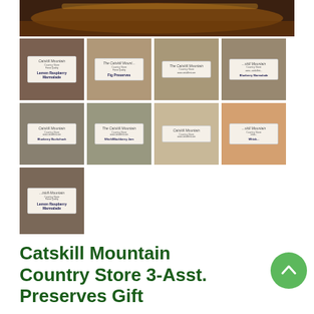[Figure (photo): Large main photo showing tops of Catskill Mountain Country Store preserve jars against a dark wooden background, warm amber/brown tones]
[Figure (photo): Grid of thumbnail photos showing various Catskill Mountain Country Store preserve jars with white labels. Row 1: Lemon Raspberry Marmalade, Fig Preserves, Catskill Mountain jar, Catskill Mountain jar. Row 2: Catskill Mountain jar, Witch/Blackberry jam, Catskill Mountain jar, Catskill Mountain orange marmalade. Row 3: Lemon Raspberry Marmalade jar.]
Catskill Mountain Country Store 3-Asst. Preserves Gift Set